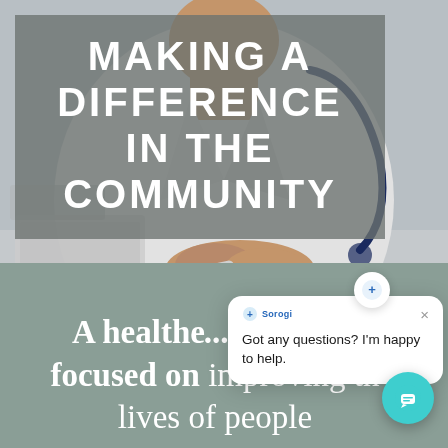[Figure (photo): Doctor in white coat with stethoscope, hands clasped on desk, keyboard and pen visible in background. Muted grey-blue medical office setting.]
MAKING A DIFFERENCE IN THE COMMUNITY
A healthcare company focused on improving the lives of people
[Figure (screenshot): Chat popup from Sorogi with message 'Got any questions? I'm happy to help.' and a teal chat bubble button in the lower right.]